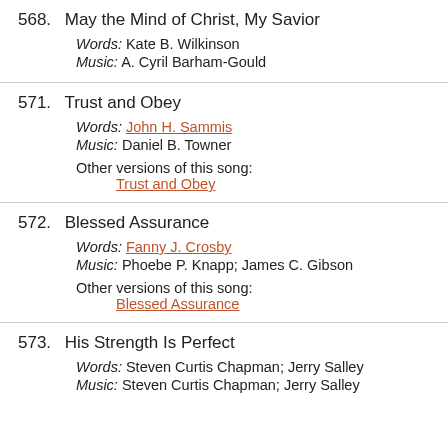568. May the Mind of Christ, My Savior
Words: Kate B. Wilkinson
Music: A. Cyril Barham-Gould
571. Trust and Obey
Words: John H. Sammis
Music: Daniel B. Towner
Other versions of this song:
Trust and Obey
572. Blessed Assurance
Words: Fanny J. Crosby
Music: Phoebe P. Knapp; James C. Gibson
Other versions of this song:
Blessed Assurance
573. His Strength Is Perfect
Words: Steven Curtis Chapman; Jerry Salley
Music: Steven Curtis Chapman; Jerry Salley